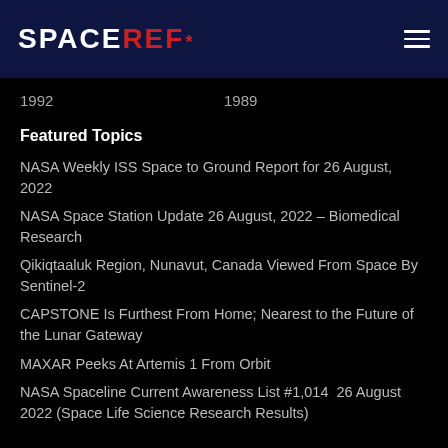SPACEREF*
1992    1989
Featured Topics
NASA Weekly ISS Space to Ground Report for 26 August, 2022
NASA Space Station Update 26 August, 2022 – Biomedical Research
Qikiqtaaluk Region, Nunavut, Canada Viewed From Space By Sentinel-2
CAPSTONE Is Furthest From Home; Nearest to the Future of the Lunar Gateway
MAXAR Peeks At Artemis 1 From Orbit
NASA Spaceline Current Awareness List #1,014  26 August 2022 (Space Life Science Research Results)